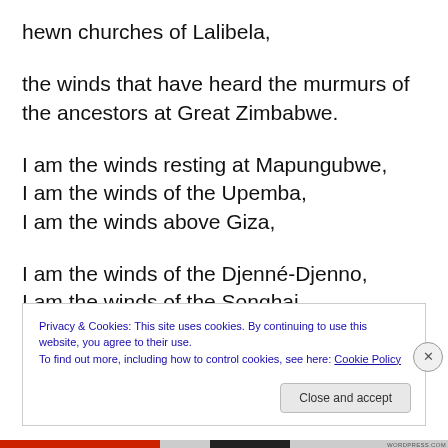hewn churches of Lalibela,
the winds that have heard the murmurs of the ancestors at Great Zimbabwe.
I am the winds resting at Mapungubwe,
I am the winds of the Upemba,
I am the winds above Giza,
I am the winds of the Djenné-Djenno,
I am the winds of the Songhai,
Privacy & Cookies: This site uses cookies. By continuing to use this website, you agree to their use.
To find out more, including how to control cookies, see here: Cookie Policy
Close and accept